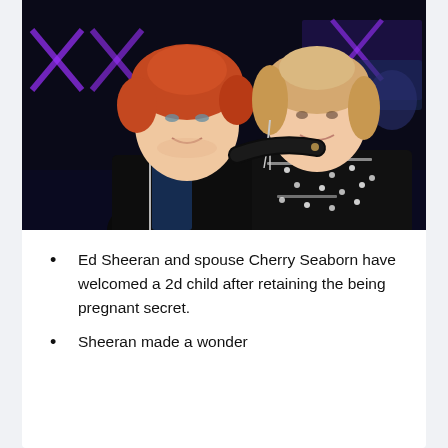[Figure (photo): Photo of Ed Sheeran and Cherry Seaborn sitting together at an event. Ed Sheeran has red hair and is wearing a black leather jacket. Cherry Seaborn has blonde hair and is wearing a black and white patterned top. They are smiling with his arm around her. The background shows an event venue with purple/blue lighting and decorative chairs.]
Ed Sheeran and spouse Cherry Seaborn have welcomed a 2d child after retaining the being pregnant secret.
Sheeran made a wonder